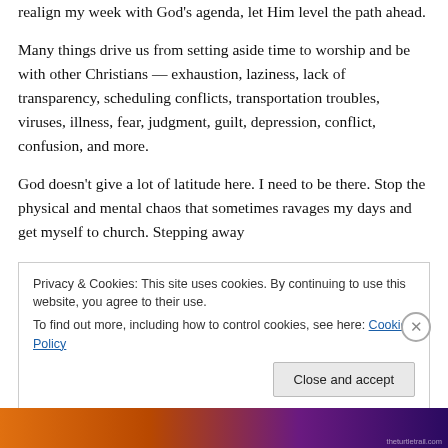realign my week with God's agenda, let Him level the path ahead.
Many things drive us from setting aside time to worship and be with other Christians — exhaustion, laziness, lack of transparency, scheduling conflicts, transportation troubles, viruses, illness, fear, judgment, guilt, depression, conflict, confusion, and more.
God doesn't give a lot of latitude here. I need to be there. Stop the physical and mental chaos that sometimes ravages my days and get myself to church. Stepping away
Privacy & Cookies: This site uses cookies. By continuing to use this website, you agree to their use.
To find out more, including how to control cookies, see here: Cookie Policy
Close and accept